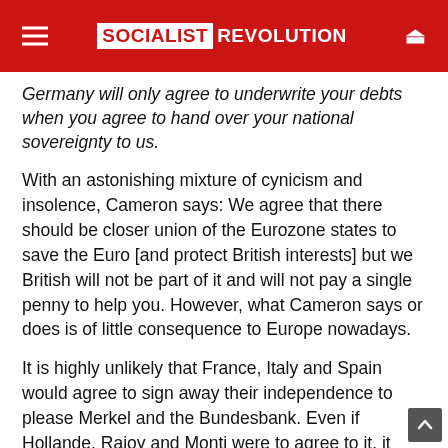SOCIALIST REVOLUTION
Germany will only agree to underwrite your debts when you agree to hand over your national sovereignty to us.
With an astonishing mixture of cynicism and insolence, Cameron says: We agree that there should be closer union of the Eurozone states to save the Euro [and protect British interests] but we British will not be part of it and will not pay a single penny to help you. However, what Cameron says or does is of little consequence to Europe nowadays.
It is highly unlikely that France, Italy and Spain would agree to sign away their independence to please Merkel and the Bundesbank. Even if Hollande, Rajoy and Monti were to agree to it, it would have to go